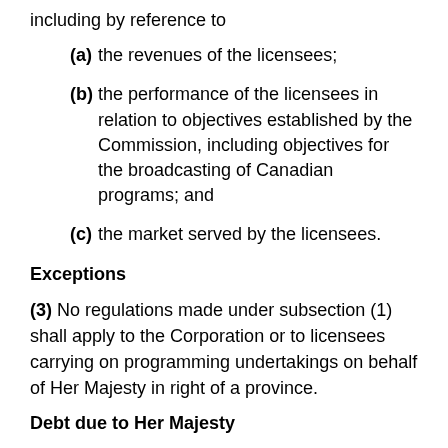including by reference to
(a) the revenues of the licensees;
(b) the performance of the licensees in relation to objectives established by the Commission, including objectives for the broadcasting of Canadian programs; and
(c) the market served by the licensees.
Exceptions
(3) No regulations made under subsection (1) shall apply to the Corporation or to licensees carrying on programming undertakings on behalf of Her Majesty in right of a province.
Debt due to Her Majesty
(4) Fees payable by a licensee under this section and any interest thereon constitute a debt due to Her Majesty in right of Canada and may be recovered as